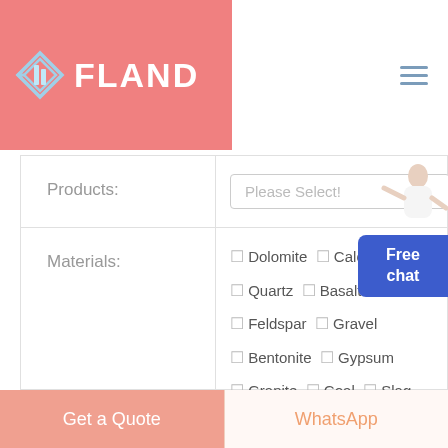[Figure (logo): Fland company logo with geometric diamond/arrow icon in light blue on pink background, with white bold text 'FLAND']
[Figure (other): Hamburger menu icon (three horizontal lines) in blue-grey color on white background, top right]
[Figure (photo): Small photo of a customer service representative (woman in white) with arm extended pointing, above the Free chat button]
| Field | Value |
| --- | --- |
| Products: | Please Select! |
| Materials: | ☐ Dolomite ☐ Calcite
☐ Quartz ☐ Basalt ☐ Barite
☐ Feldspar ☐ Gravel
☐ Bentonite ☐ Gypsum
☐ Granite ☐ Coal ☐ Slag
☐ Pebble
Other:
[As: Marble] |
Free chat
Get a Quote
WhatsApp